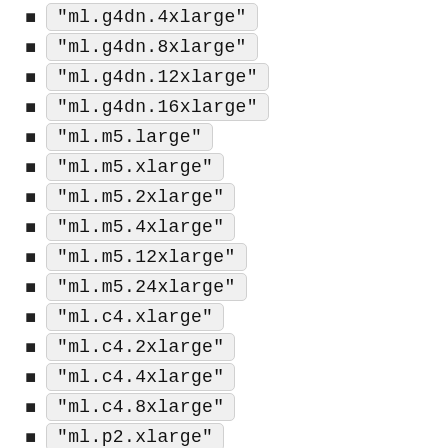"ml.g4dn.4xlarge"
"ml.g4dn.8xlarge"
"ml.g4dn.12xlarge"
"ml.g4dn.16xlarge"
"ml.m5.large"
"ml.m5.xlarge"
"ml.m5.2xlarge"
"ml.m5.4xlarge"
"ml.m5.12xlarge"
"ml.m5.24xlarge"
"ml.c4.xlarge"
"ml.c4.2xlarge"
"ml.c4.4xlarge"
"ml.c4.8xlarge"
"ml.p2.xlarge"
"ml.p2.8xlarge"
"ml.p2.16xlarge"